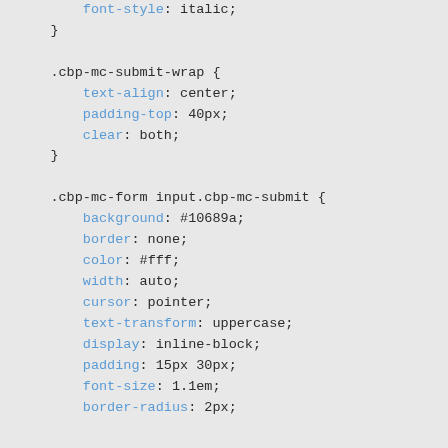font-style: italic;
}

.cbp-mc-submit-wrap {
    text-align: center;
    padding-top: 40px;
    clear: both;
}

.cbp-mc-form input.cbp-mc-submit {
    background: #10689a;
    border: none;
    color: #fff;
    width: auto;
    cursor: pointer;
    text-transform: uppercase;
    display: inline-block;
    padding: 15px 30px;
    font-size: 1.1em;
    border-radius: 2px;